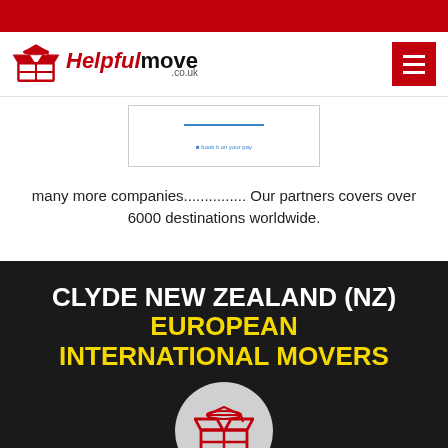[Figure (logo): HelpfulMove.co.uk logo with red open box icon and red/black text]
[Figure (screenshot): Partial screenshot of a map or form card with a blue bar element]
many more companies............... Our partners covers over 6000 destinations worldwide.
CLYDE NEW ZEALAND (NZ) EUROPEAN INTERNATIONAL MOVERS
[Figure (logo): HelpfulMove open box icon in red on a grey circular background]